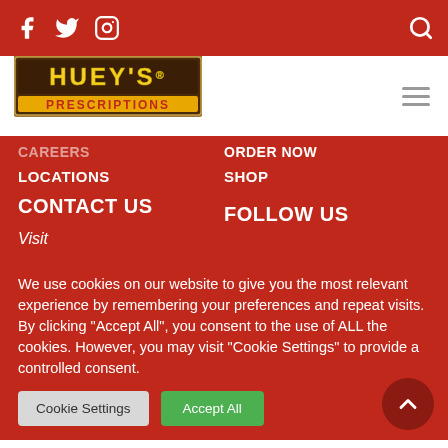Social icons: Facebook, Twitter, Instagram, Search
[Figure (logo): Huey's Prescriptions restaurant logo - brown and yellow sign style]
CAREERS
ORDER NOW
LOCATIONS
SHOP
CONTACT US
FOLLOW US
Visit
We use cookies on our website to give you the most relevant experience by remembering your preferences and repeat visits. By clicking "Accept All", you consent to the use of ALL the cookies. However, you may visit "Cookie Settings" to provide a controlled consent.
Cookie Settings | Accept All